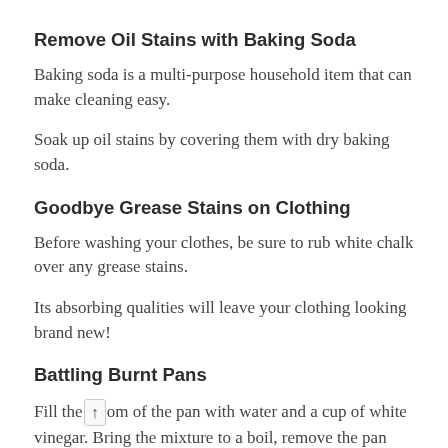Remove Oil Stains with Baking Soda
Baking soda is a multi-purpose household item that can make cleaning easy.
Soak up oil stains by covering them with dry baking soda.
Goodbye Grease Stains on Clothing
Before washing your clothes, be sure to rub white chalk over any grease stains.
Its absorbing qualities will leave your clothing looking brand new!
Battling Burnt Pans
Fill the [↑] om of the pan with water and a cup of white vinegar. Bring the mixture to a boil, remove the pan from